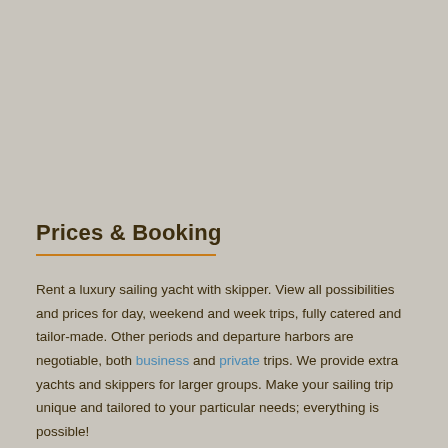Prices & Booking
Rent a luxury sailing yacht with skipper. View all possibilities and prices for day, weekend and week trips, fully catered and tailor-made.  Other periods and departure harbors are negotiable, both business and private trips. We provide extra yachts and skippers for larger groups. Make your sailing trip unique and tailored to your particular needs;  everything is possible!